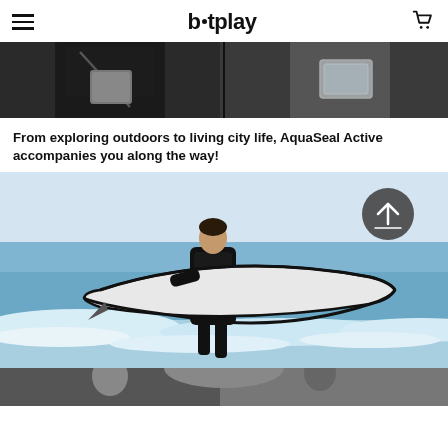bitplay
[Figure (photo): Two people wearing waterproof bags/cases, shown from torso level. Left person carries a crossbody waterproof bag, right person carries a clear waterproof case.]
From exploring outdoors to living city life, AquaSeal Active accompanies you along the way!
[Figure (photo): A surfer in a black wetsuit carrying a white surfboard walks out of ocean waves. He wears a clear AquaSeal waterproof bag on his torso. A circular back-to-top button is visible in the upper right corner of the image.]
[Figure (photo): Partially visible photo at the bottom of the page showing another lifestyle scene.]